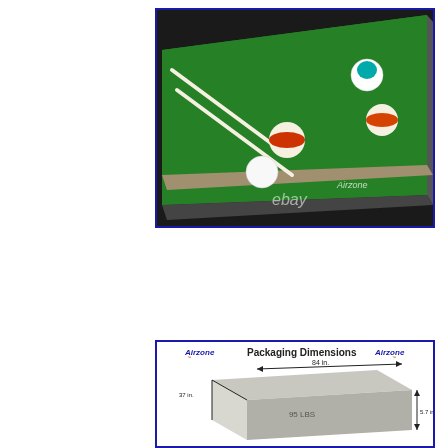[Figure (photo): Close-up photo of a mini pool/billiards table with green felt surface, showing billiard balls (white cue ball, teal ball, two orange-striped balls) and two white cue sticks. The table has a dark frame and 'Airzone' branding on the side. An 'ebay' watermark is visible. Image has a dark blue border.]
[Figure (engineering-diagram): Packaging dimensions diagram for an Airzone product. Shows a box shape with dimensions: 84 in. length, 37 in. width, 5.7 in. height, and weight 95 LBS. 'Airzone' logo appears twice at top. 'Packaging Dimensions' text in center top. Blue border around diagram.]